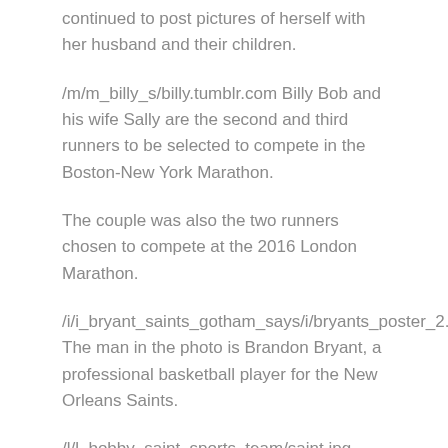continued to post pictures of herself with her husband and their children.
/m/m_billy_s/billy.tumblr.com Billy Bob and his wife Sally are the second and third runners to be selected to compete in the Boston-New York Marathon.
The couple was also the two runners chosen to compete at the 2016 London Marathon.
/i/i_bryant_saints_gotham_says/i/bryants_poster_2.jpg The man in the photo is Brandon Bryant, a professional basketball player for the New Orleans Saints.
/l/l_bobby_saint_sports_team/saint.jpg Bobby, the Saints' mascot, is one of the runners chosen by the Reddit community to compete.
The the...